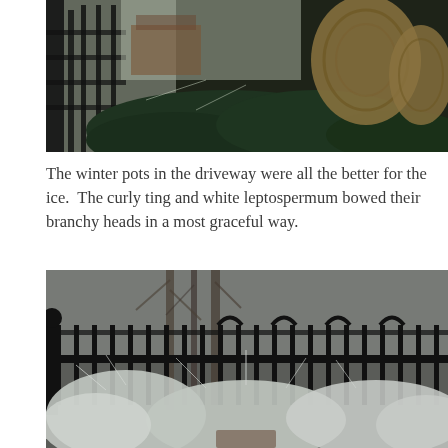[Figure (photo): Winter garden scene showing frost-covered evergreen branches and decorative wicker/woven sculptural forms against a dark metal fence gate. Snow visible in background.]
The winter pots in the driveway were all the better for the ice.  The curly ting and white leptospermum bowed their branchy heads in a most graceful way.
[Figure (photo): Winter garden scene showing frost-covered shrubs and bare trees behind a black ornamental iron fence. The branches are coated in white ice giving a delicate crystalline appearance.]